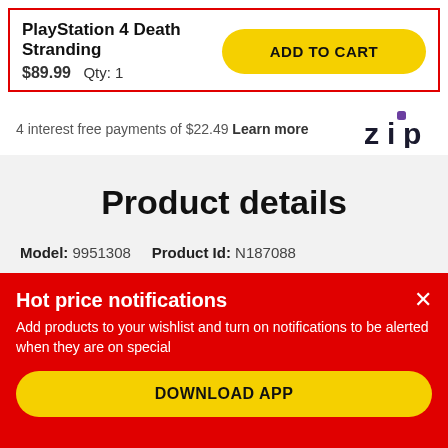PlayStation 4 Death Stranding
$89.99   Qty: 1
ADD TO CART
4 interest free payments of $22.49 Learn more
[Figure (logo): Zip logo - stylized text 'zip' with purple square dot above the 'i']
Product details
Model: 9951308   Product Id: N187088
Hot price notifications
Add products to your wishlist and turn on notifications to be alerted when they are on special
DOWNLOAD APP